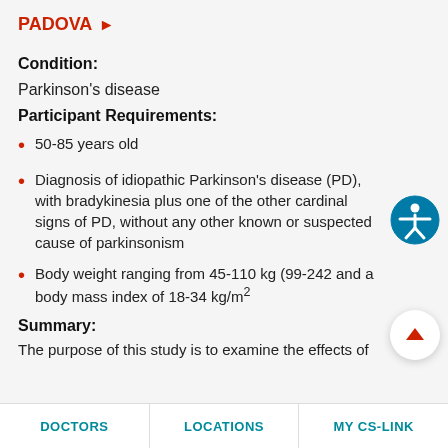PADOVA ▶
Condition:
Parkinson's disease
Participant Requirements:
50-85 years old
Diagnosis of idiopathic Parkinson's disease (PD), with bradykinesia plus one of the other cardinal signs of PD, without any other known or suspected cause of parkinsonism
Body weight ranging from 45-110 kg (99-242 and a body mass index of 18-34 kg/m²
Summary:
The purpose of this study is to examine the effects of
DOCTORS    LOCATIONS    MY CS-LINK